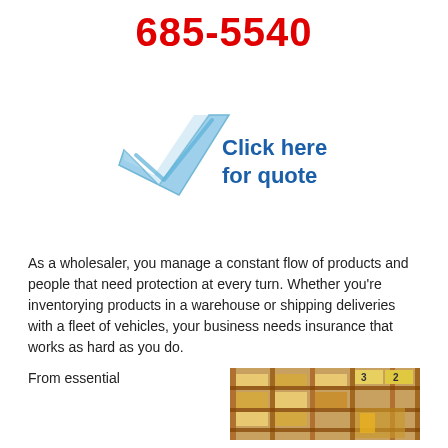685-5540
[Figure (illustration): Blue checkmark icon with text 'Click here for quote' in dark blue bold font]
As a wholesaler, you manage a constant flow of products and people that need protection at every turn. Whether you're inventorying products in a warehouse or shipping deliveries with a fleet of vehicles, your business needs insurance that works as hard as you do.
From essential
[Figure (photo): Warehouse shelving with boxes and numbered aisles, industrial storage facility interior]